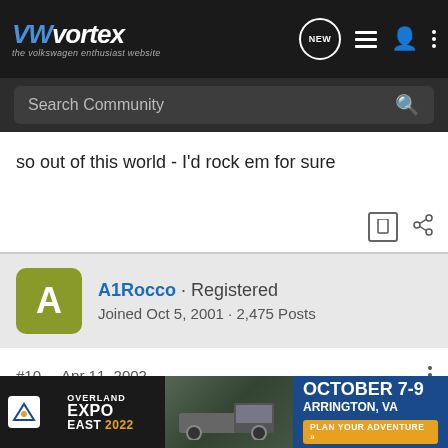VWvortex - the volkswagen enthusiast website
Search Community
so out of this world - I'd rock em for sure
A1Rocco · Registered
Joined Oct 5, 2001 · 2,475 Posts
#10 · Apr 11, 2002
Re: Just scored a set of VINTAGE (driveGTI)
I saw a BMW 2002 last night with those exact wheels and man were they in bbaeed shape. All the clear coat was peeling off and cor... I bet i could bu...
[Figure (screenshot): Overland Expo East 2022 advertisement banner: October 7-9, Arrington, VA - Plan Your Adventure]